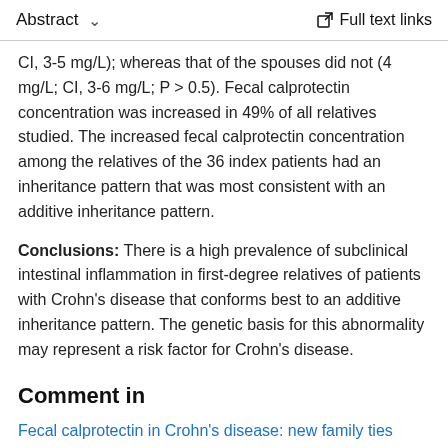Abstract  ∨   Full text links
CI, 3-5 mg/L); whereas that of the spouses did not (4 mg/L; CI, 3-6 mg/L; P > 0.5). Fecal calprotectin concentration was increased in 49% of all relatives studied. The increased fecal calprotectin concentration among the relatives of the 36 index patients had an inheritance pattern that was most consistent with an additive inheritance pattern.
Conclusions: There is a high prevalence of subclinical intestinal inflammation in first-degree relatives of patients with Crohn's disease that conforms best to an additive inheritance pattern. The genetic basis for this abnormality may represent a risk factor for Crohn's disease.
Comment in
Fecal calprotectin in Crohn's disease: new family ties